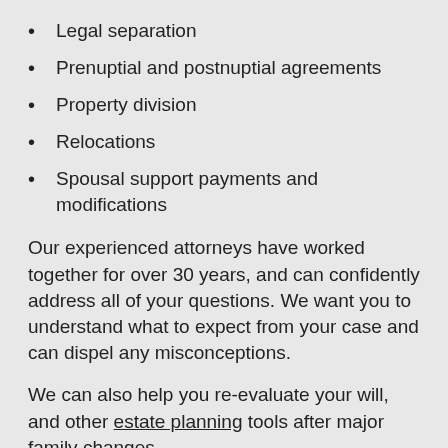Legal separation
Prenuptial and postnuptial agreements
Property division
Relocations
Spousal support payments and modifications
Our experienced attorneys have worked together for over 30 years, and can confidently address all of your questions. We want you to understand what to expect from your case and can dispel any misconceptions.
We can also help you re-evaluate your will, and other estate planning tools after major family changes.
Developing Solutions In The Best